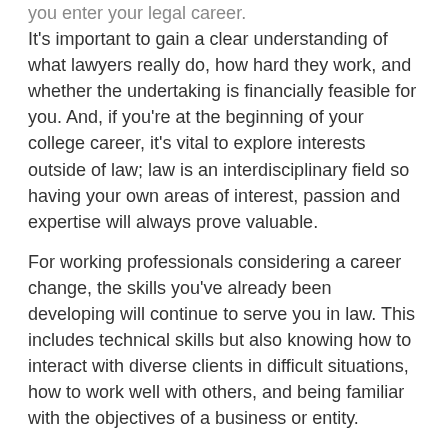you enter your legal career. It's important to gain a clear understanding of what lawyers really do, how hard they work, and whether the undertaking is financially feasible for you. And, if you're at the beginning of your college career, it's vital to explore interests outside of law; law is an interdisciplinary field so having your own areas of interest, passion and expertise will always prove valuable.
For working professionals considering a career change, the skills you've already been developing will continue to serve you in law. This includes technical skills but also knowing how to interact with diverse clients in difficult situations, how to work well with others, and being familiar with the objectives of a business or entity.
Let me know what you think of the podcast.
Leave a Reply